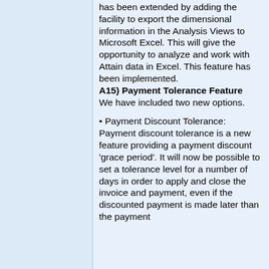The dimensions functionality has been extended by adding the facility to export the dimensional information in the Analysis Views to Microsoft Excel. This will give the opportunity to analyze and work with Attain data in Excel. This feature has been implemented.
A15) Payment Tolerance Feature
We have included two new options.
• Payment Discount Tolerance: Payment discount tolerance is a new feature providing a payment discount 'grace period'. It will now be possible to set a tolerance level for a number of days in order to apply and close the invoice and payment, even if the discounted payment is made later than the payment